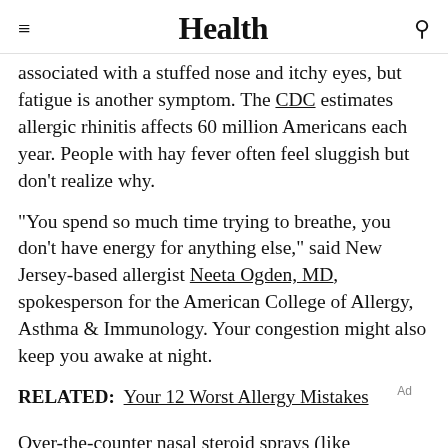Health
associated with a stuffed nose and itchy eyes, but fatigue is another symptom. The CDC estimates allergic rhinitis affects 60 million Americans each year. People with hay fever often feel sluggish but don't realize why.
"You spend so much time trying to breathe, you don't have energy for anything else," said New Jersey-based allergist Neeta Ogden, MD, spokesperson for the American College of Allergy, Asthma & Immunology. Your congestion might also keep you awake at night.
RELATED: Your 12 Worst Allergy Mistakes
Over-the-counter nasal steroid sprays (like